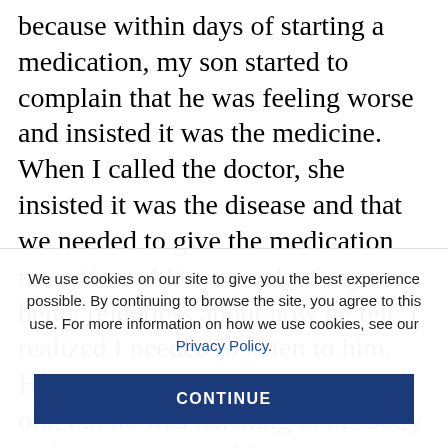wasn't finding them as the doctor's office. Perhaps that because within days of starting a medication, my son started to complain that he was feeling worse and insisted it was the medicine. When I called the doctor, she insisted it was the disease and that we needed to give the medication more time. After a week of my son being relentless about how he felt, I realized I needed to listen to him. He may have only been 12 years old, but he was listening to his body and my intuition told me to pay attention. My son was right. It was the medicine and he was reacting to the side effects. Now
We use cookies on our site to give you the best experience possible. By continuing to browse the site, you agree to this use. For more information on how we use cookies, see our Privacy Policy.